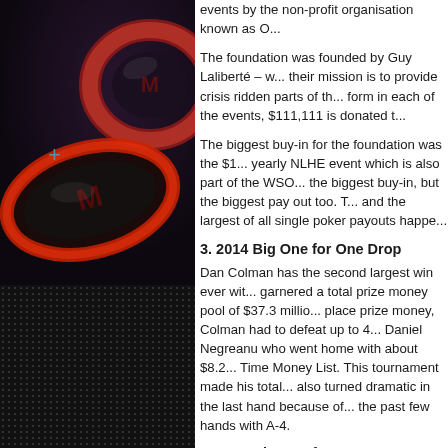[Figure (photo): Dark background with red and dark poker chips with an M logo, plus a crosshair symbol. Top half shows chips on dark purple-black background, bottom half shows a dotted grid pattern.]
events by the non-profit organisation known as O...
The foundation was founded by Guy Laliberté – their mission is to provide crisis ridden parts of th... form in each of the events, $111,111 is donated...
The biggest buy-in for the foundation was the $1... yearly NLHE event which is also part of the WSO... the biggest buy-in, but the biggest pay out too. T... and the largest of all single poker payouts happe...
3. 2014 Big One for One Drop
Dan Colman has the second largest win ever wit... garnered a total prize money pool of $37.3 millio... place prize money, Colman had to defeat up to 4... Daniel Negreanu who went home with about $8.2... Time Money List. This tournament made his total... also turned dramatic in the last hand because of... the past few hands with A-4.
2. 2018 Big One for One Drop
Number 2 of the highest poker wins of all time is... excites most enthusiasts.